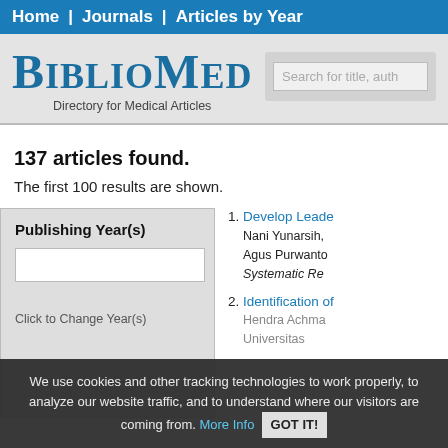Home | Journals | Articles by Year
[Figure (logo): BiblioMed logo — Directory for Medical Articles, with search box]
137 articles found.
The first 100 results are shown.
Publishing Year(s)
1. Develop Leade... Nani Yunarsih, Agus Purwanto... Systematic Re...
2. Identification of...
Click to Change Year(s)
We use cookies and other tracking technologies to work properly, to analyze our website traffic, and to understand where our visitors are coming from. More Info GOT IT!